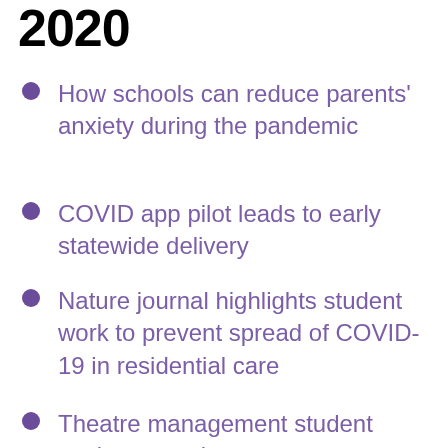2020
How schools can reduce parents' anxiety during the pandemic
COVID app pilot leads to early statewide delivery
Nature journal highlights student work to prevent spread of COVID-19 in residential care
Theatre management student works on study to